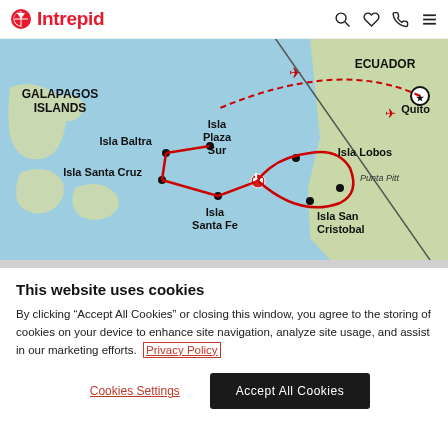Intrepid
[Figure (map): Map of Galapagos Islands and Ecuador showing travel route between islands: Isla Baltra, Isla Plaza Sur, Isla Lobos, Isla Santa Cruz, Isla Santa Fe, Isla San Cristobal (with Punta Pitt), and Quito. Red dashed lines show flight paths and red solid lines show boat/island routes.]
This website uses cookies
By clicking "Accept All Cookies" or closing this window, you agree to the storing of cookies on your device to enhance site navigation, analyze site usage, and assist in our marketing efforts.  Privacy Policy
Cookies Settings
Accept All Cookies